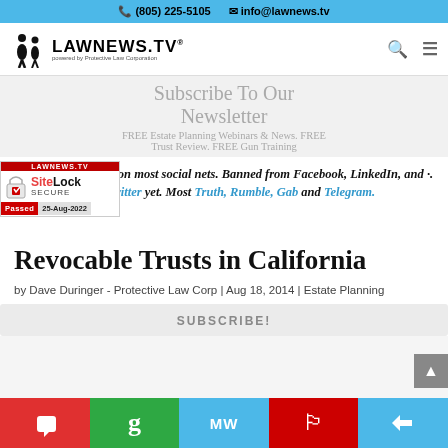(805) 225-5105  info@lawnews.tv
[Figure (logo): LawNews.TV logo with silhouette figures]
Subscribe To Our Newsletter
FREE Estate Planning Webinars & News. FREE Trust Review. FREE Gun Training
Find me @guntrust on most social nets. Banned from Facebook, LinkedIn, and [more]. Not banned from Twitter yet. Most [active on] Truth, Rumble, Gab and Telegram.
[Figure (other): SiteLock Secure badge - Passed 25-Aug-2022]
Revocable Trusts in California
by Dave Duringer - Protective Law Corp | Aug 18, 2014 | Estate Planning
SUBSCRIBE! [social share buttons: Parler, Gab, MeWe, Truth, Telegram]